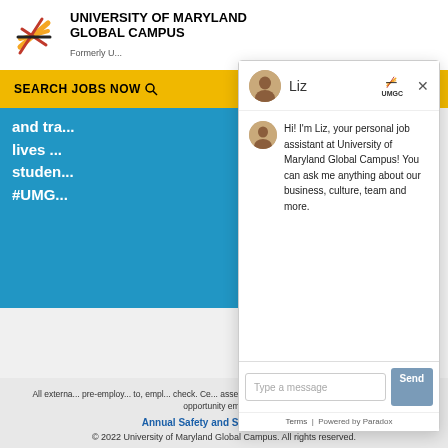UNIVERSITY OF MARYLAND GLOBAL CAMPUS Formerly U...
SEARCH JOBS NOW    TALENT NETWORK
and tra... lives ... studen... #UMG...
[Figure (screenshot): Chat widget with Liz, personal job assistant at University of Maryland Global Campus. Chat message: Hi! I'm Liz, your personal job assistant at University of Maryland Global Campus! You can ask me anything about our business, culture, team and more. Input field: Type a message. Send button. Terms | Powered by Paradox]
All externa... pre-employ... to, empl... check. Ce... assessment. We are an affirmative action and equal opportunity employer.
Annual Safety and Security Report
© 2022 University of Maryland Global Campus. All rights reserved.